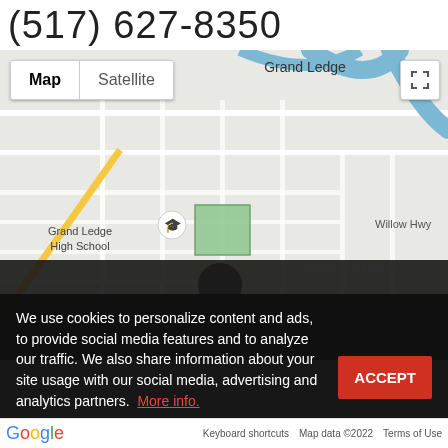(517) 627-8350
[Figure (map): Google Maps view of Grand Ledge, Michigan area showing Grand River, E Jefferson St, Willow Hwy, S Clinton, Grand Ledge High School, and a map/satellite toggle. Sundance Chevrolet label visible on dark overlay.]
We use cookies to personalize content and ads, to provide social media features and to analyze our traffic. We also share information about your site usage with our social media, advertising and analytics partners. More info.
Google    Keyboard shortcuts    Map data ©2022    Terms of Use